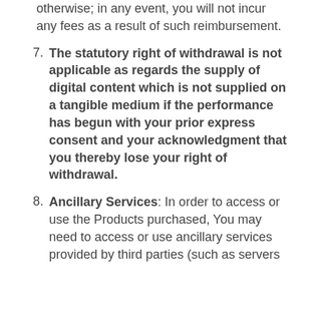otherwise; in any event, you will not incur any fees as a result of such reimbursement.
7. The statutory right of withdrawal is not applicable as regards the supply of digital content which is not supplied on a tangible medium if the performance has begun with your prior express consent and your acknowledgment that you thereby lose your right of withdrawal.
8. Ancillary Services: In order to access or use the Products purchased, You may need to access or use ancillary services provided by third parties (such as servers